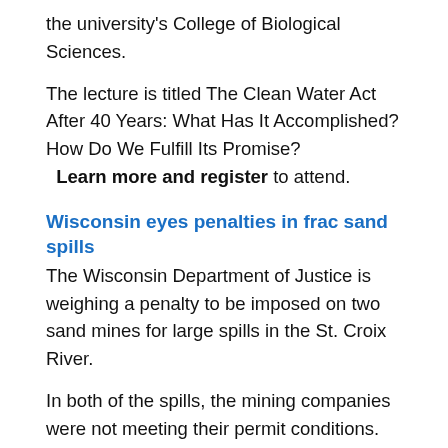the university's College of Biological Sciences.
The lecture is titled The Clean Water Act After 40 Years: What Has It Accomplished? How Do We Fulfill Its Promise? Learn more and register to attend.
Wisconsin eyes penalties in frac sand spills
The Wisconsin Department of Justice is weighing a penalty to be imposed on two sand mines for large spills in the St. Croix River.
In both of the spills, the mining companies were not meeting their permit conditions. Wisconsin DNR enforcement specialist Deb Dix said one site had no erosion control structures, and the other used soft sand to build a berm.
–Minnesota Public Radio